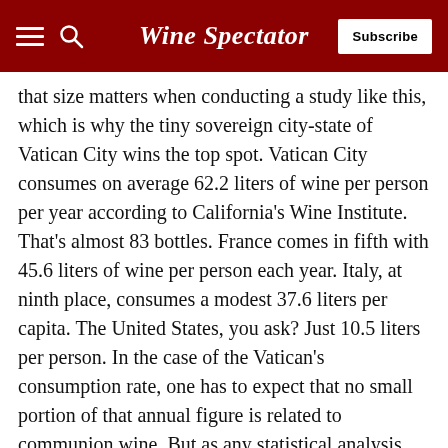Wine Spectator
that size matters when conducting a study like this, which is why the tiny sovereign city-state of Vatican City wins the top spot. Vatican City consumes on average 62.2 liters of wine per person per year according to California's Wine Institute. That's almost 83 bottles. France comes in fifth with 45.6 liters of wine per person each year. Italy, at ninth place, consumes a modest 37.6 liters per capita. The United States, you ask? Just 10.5 liters per person. In the case of the Vatican's consumption rate, one has to expect that no small portion of that annual figure is related to communion wine. But as any statistical analysis professor will tell you, the smaller the group, the greater the chance for distortion. With a reported population of just 836 in 2011, coupled with a full calendar of entertaining visiting dignitaries, the aforementioned communion wine, and a largely older